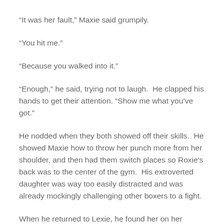“It was her fault,” Maxie said grumpily.
“You hit me.”
“Because you walked into it.”
“Enough,” he said, trying not to laugh.  He clapped his hands to get their attention. “Show me what you’ve got.”
He nodded when they both showed off their skills.  He showed Maxie how to throw her punch more from her shoulder, and then had them switch places so Roxie’s back was to the center of the gym.  His extroverted daughter was way too easily distracted and was already mockingly challenging other boxers to a fight.
When he returned to Lexie, he found her on her phone.